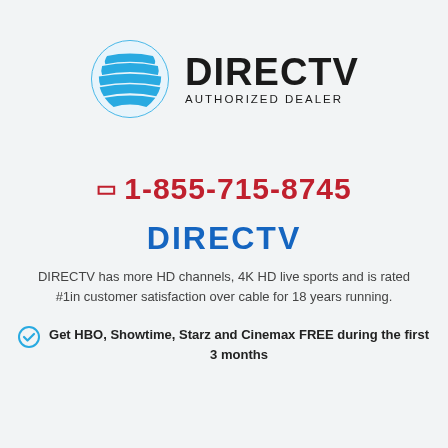[Figure (logo): DIRECTV Authorized Dealer logo with AT&T globe icon in blue and DIRECTV text in black with AUTHORIZED DEALER subtitle]
☎ 1-855-715-8745
DIRECTV
DIRECTV has more HD channels, 4K HD live sports and is rated #1in customer satisfaction over cable for 18 years running.
Get HBO, Showtime, Starz and Cinemax FREE during the first 3 months